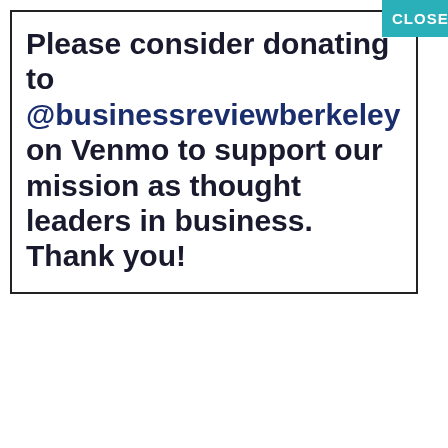Please consider donating to @businessreviewberkeley on Venmo to support our mission as thought leaders in business. Thank you!
money Netflix pandemic policy politics Russia Spending stock market supply chain sustainability technology Ukraine unemployment United States venture capital